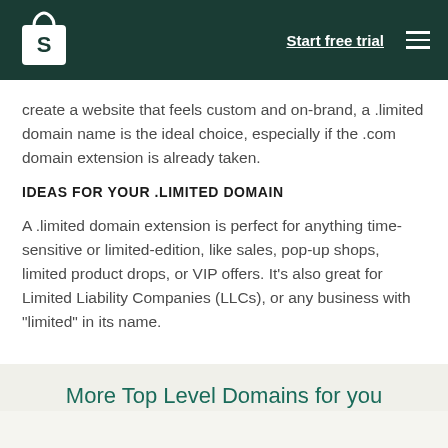Start free trial
create a website that feels custom and on-brand, a .limited domain name is the ideal choice, especially if the .com domain extension is already taken.
IDEAS FOR YOUR .LIMITED DOMAIN
A .limited domain extension is perfect for anything time-sensitive or limited-edition, like sales, pop-up shops, limited product drops, or VIP offers. It's also great for Limited Liability Companies (LLCs), or any business with "limited" in its name.
More Top Level Domains for you